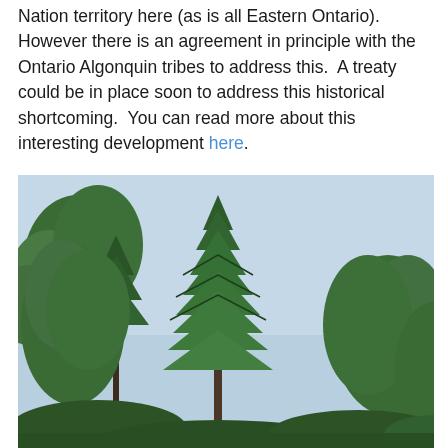Nation territory here (as is all Eastern Ontario).  However there is an agreement in principle with the Ontario Algonquin tribes to address this.  A treaty could be in place soon to address this historical shortcoming.  You can read more about this interesting development here.
[Figure (photo): Photograph of tall pine trees shot from a low angle against a pale blue sky. The trees show dense green needled branches. The image is taken looking upward, with a dominant central pine tree surrounded by other pines.]